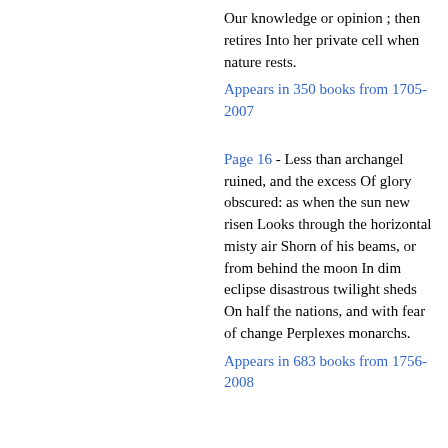Our knowledge or opinion ; then retires Into her private cell when nature rests.
Appears in 350 books from 1705-2007
Page 16 - Less than archangel ruined, and the excess Of glory obscured: as when the sun new risen Looks through the horizontal misty air Shorn of his beams, or from behind the moon In dim eclipse disastrous twilight sheds On half the nations, and with fear of change Perplexes monarchs.
Appears in 683 books from 1756-2008